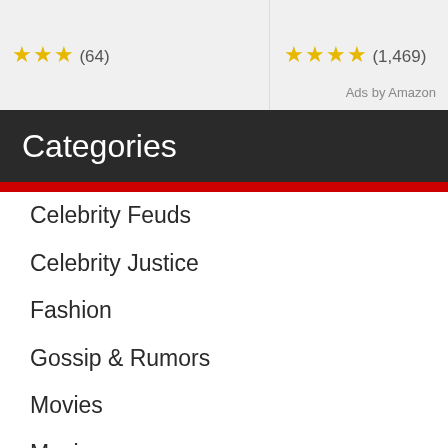★★★ (64)
★★★★ (1,469)
Ads by Amazon
Categories
Celebrity Feuds
Celebrity Justice
Fashion
Gossip & Rumors
Movies
Music
Politics
Sports
TV